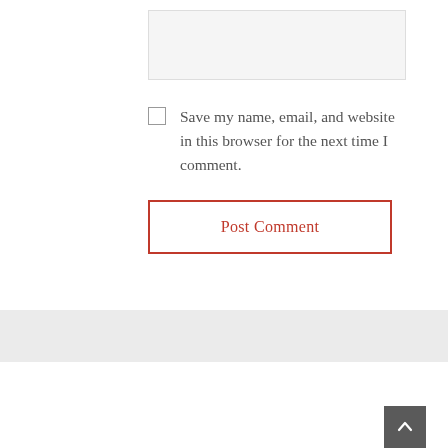[Figure (screenshot): Textarea input box (grayed out, partially visible at top)]
Save my name, email, and website in this browser for the next time I comment.
Post Comment
Archives
January 2022